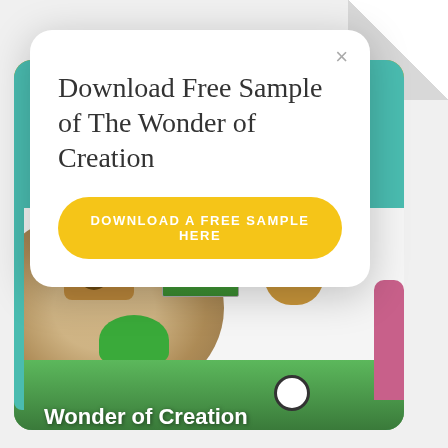[Figure (screenshot): Screenshot of a website popup modal over a children's book product page. The modal prompts users to download a free sample of 'The Wonder of Creation'. Below the modal is a product photo showing a children's book, wooden toy camera, and wooden owl figure on a white shelf surface over a wood slice. At the bottom is a colorful jungle illustration with the text 'Wonder of Creation'.]
Download Free Sample of The Wonder of Creation
DOWNLOAD A FREE SAMPLE HERE
Wonder of Creation